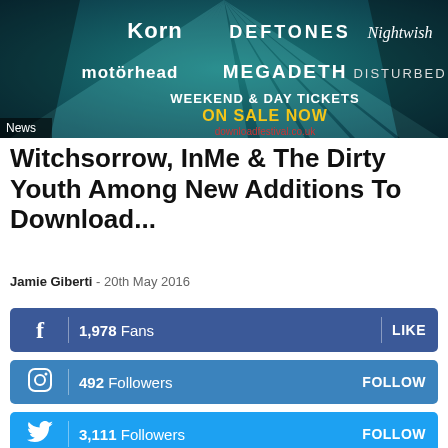[Figure (photo): Festival banner showing band names: Korn, Deftones, Nightwish, Motörhead, Megadeth, Disturbed. Text: WEEKEND & DAY TICKETS ON SALE NOW. Dark teal background with rays.]
News
Witchsorrow, InMe & The Dirty Youth Among New Additions To Download...
Jamie Giberti  -  20th May 2016
1,978  Fans  LIKE
492  Followers  FOLLOW
3,111  Followers  FOLLOW
0  Subscribers  SUBSCRIBE